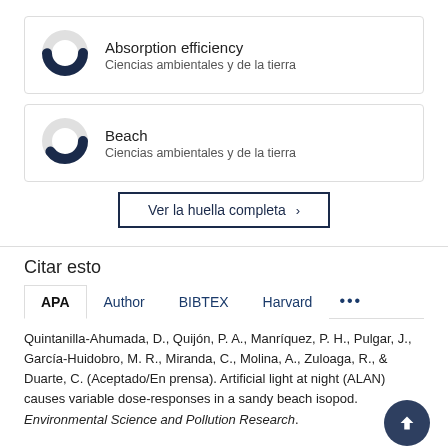[Figure (donut-chart): Donut chart icon for Absorption efficiency keyword, approximately 75% filled in dark navy blue]
Absorption efficiency
Ciencias ambientales y de la tierra
[Figure (donut-chart): Donut chart icon for Beach keyword, approximately 65% filled in dark navy blue]
Beach
Ciencias ambientales y de la tierra
Ver la huella completa >
Citar esto
APA   Author   BIBTEX   Harvard   ...
Quintanilla-Ahumada, D., Quijón, P. A., Manríquez, P. H., Pulgar, J., García-Huidobro, M. R., Miranda, C., Molina, A., Zuloaga, R., & Duarte, C. (Aceptado/En prensa). Artificial light at night (ALAN) causes variable dose-responses in a sandy beach isopod. Environmental Science and Pollution Research.